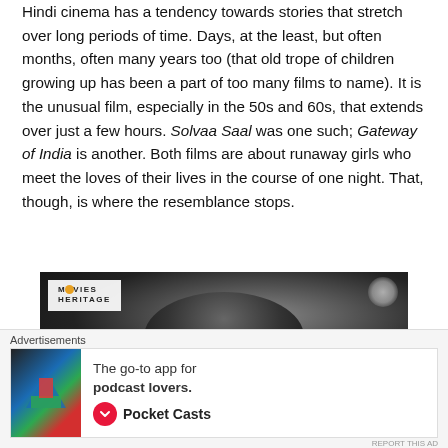Hindi cinema has a tendency towards stories that stretch over long periods of time. Days, at the least, but often months, often many years too (that old trope of children growing up has been a part of too many films to name). It is the unusual film, especially in the 50s and 60s, that extends over just a few hours. Solvaa Saal was one such; Gateway of India is another. Both films are about runaway girls who meet the loves of their lives in the course of one night. That, though, is where the resemblance stops.
[Figure (photo): Black and white film still with Movies Heritage logo watermark in top left corner. Shows a dark, shadowy figure.]
Advertisements
[Figure (other): Advertisement for Pocket Casts app: 'The go-to app for podcast lovers.' with Pocket Casts logo and branding.]